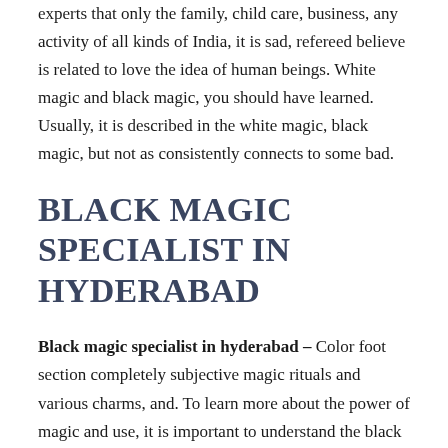experts that only the family, child care, business, any activity of all kinds of India, it is sad, refereed believe is related to love the idea of human beings. White magic and black magic, you should have learned. Usually, it is described in the white magic, black magic, but not as consistently connects to some bad.
BLACK MAGIC SPECIALIST IN HYDERABAD
Black magic specialist in hyderabad – Color foot section completely subjective magic rituals and various charms, and. To learn more about the power of magic and use, it is important to understand the black value in the first place. With the help of black magic against that is used to control the free will.Black Magic Specialist in India, the dispute or black magic